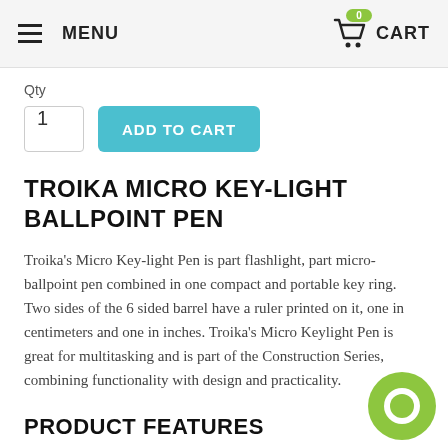MENU  CART
Qty
1
ADD TO CART
TROIKA MICRO KEY-LIGHT BALLPOINT PEN
Troika's Micro Key-light Pen is part flashlight, part micro-ballpoint pen combined in one compact and portable key ring.  Two sides of the 6 sided barrel have a ruler printed on it, one in centimeters and one in inches. Troika's Micro Keylight Pen is great for multitasking and is part of the Construction Series, combining functionality with design and practicality.
PRODUCT FEATURES